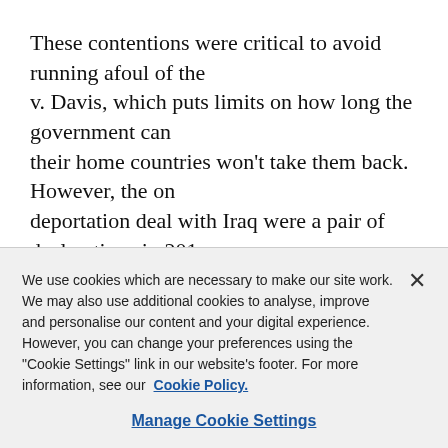These contentions were critical to avoid running afoul of the v. Davis, which puts limits on how long the government can their home countries won't take them back. However, the on deportation deal with Iraq were a pair of declarations in 201 Schultz and acting Deputy Assistant Director Michael Berna
Those ICE declarations didn't sit well with the plaintiffs' att
"Kim Scott in particular, in the very beginning, was saying
We use cookies which are necessary to make our site work. We may also use additional cookies to analyse, improve and personalise our content and your digital experience. However, you can change your preferences using the "Cookie Settings" link in our website's footer. For more information, see our Cookie Policy.
Manage Cookie Settings